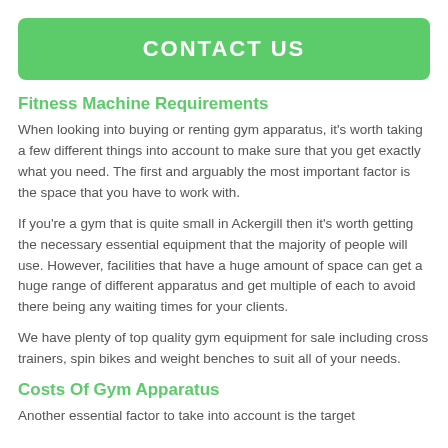CONTACT US
Fitness Machine Requirements
When looking into buying or renting gym apparatus, it's worth taking a few different things into account to make sure that you get exactly what you need. The first and arguably the most important factor is the space that you have to work with.
If you're a gym that is quite small in Ackergill then it's worth getting the necessary essential equipment that the majority of people will use. However, facilities that have a huge amount of space can get a huge range of different apparatus and get multiple of each to avoid there being any waiting times for your clients.
We have plenty of top quality gym equipment for sale including cross trainers, spin bikes and weight benches to suit all of your needs.
Costs Of Gym Apparatus
Another essential factor to take into account is the target